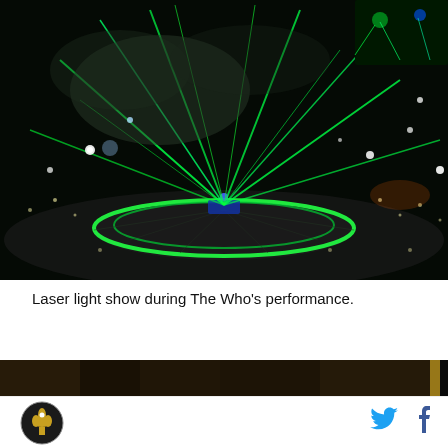[Figure (photo): Laser light show during a concert performance at a large stadium. Green laser beams radiate from a circular stage in the center with a glowing ring, surrounded by a dark crowd and colorful lights in the background.]
Laser light show during The Who's performance.
[Figure (photo): Partial strip image at the bottom, showing another photo scene.]
Logo and social media icons (Twitter, Facebook)